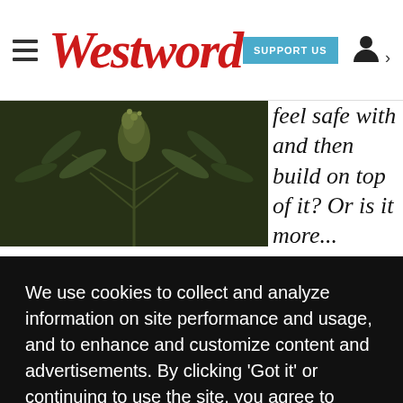Westword — SUPPORT US
[Figure (photo): Close-up photo of cannabis plant with buds and leaves, dark green tones]
feel safe with and then build on top of it? Or is it more ... at the ... ot of ... as ... ky ... ning ... we ... get ... t the ... y
We use cookies to collect and analyze information on site performance and usage, and to enhance and customize content and advertisements. By clicking 'Got it' or continuing to use the site, you agree to allow cookies to be placed. To find out more, visit our cookies policy and our privacy policy.
Got it!
arduous and full of failures – but by getting